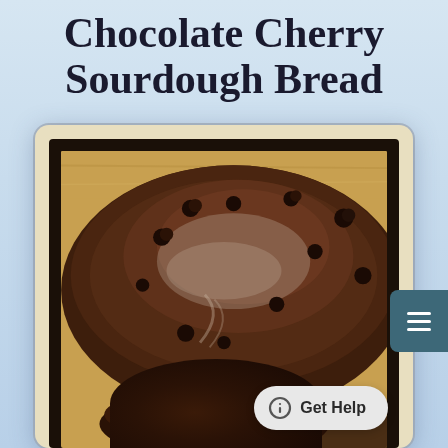Chocolate Cherry Sourdough Bread
[Figure (photo): A dark chocolate cherry sourdough bread loaf with dried cherries studded throughout, sitting on a wooden board. A sliced portion is visible in the foreground showing the dark interior crumb. The bread is displayed in a card frame with beige border and dark inner border.]